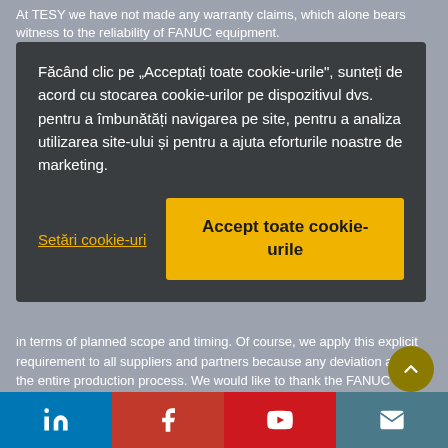At TESY we have not made any warranty claims, which alone bears witness to the reliability of FANUC equipment.
[Figure (screenshot): Cookie consent modal overlay with dark background containing Romanian text about cookie usage, a 'Setări cookie-uri' link and an 'Accept toate cookie-urile' yellow button]
in terms of planned scope and timing. Of course, we apply this explicit requirement to all suppliers and partners because any deviation affects the entire production process. We would like to thank the FANUC service team for their prompt and professional response.
Are you planning to implement other robotics solutions in your pro...
[Figure (infographic): Social media icon bar at the bottom with LinkedIn, Facebook, YouTube, and email icons]